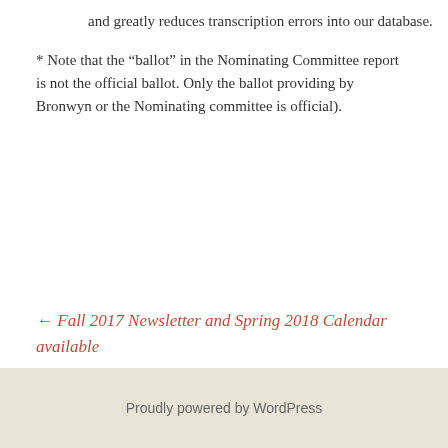and greatly reduces transcription errors into our database.
* Note that the “ballot” in the Nominating Committee report is not the official ballot. Only the ballot providing by Bronwyn or the Nominating committee is official).
← Fall 2017 Newsletter and Spring 2018 Calendar available
Proudly powered by WordPress